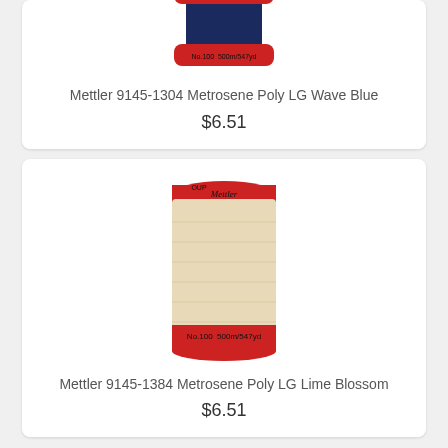[Figure (photo): Mettler thread spool with navy blue thread, red top cap visible, partially cropped at top]
Mettler 9145-1304 Metrosene Poly LG Wave Blue
$6.51
[Figure (photo): Mettler thread spool with cream/beige thread, red top and bottom caps, labeled No.100 500m/547yd]
Mettler 9145-1384 Metrosene Poly LG Lime Blossom
$6.51